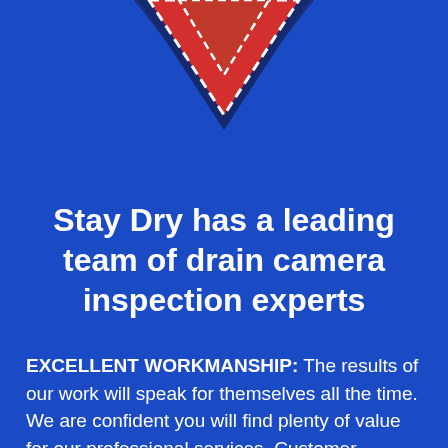[Figure (logo): Stay Dry logo: nested downward-pointing chevrons/arrows. Outermost is dark navy blue, middle is red with white dashed border outline, innermost is a smaller red chevron with white dashed border, pointing downward.]
Stay Dry has a leading team of drain camera inspection experts
EXCELLENT WORKMANSHIP: The results of our work will speak for themselves all the time. We are confident you will find plenty of value for our professional services. Customer satisfaction is